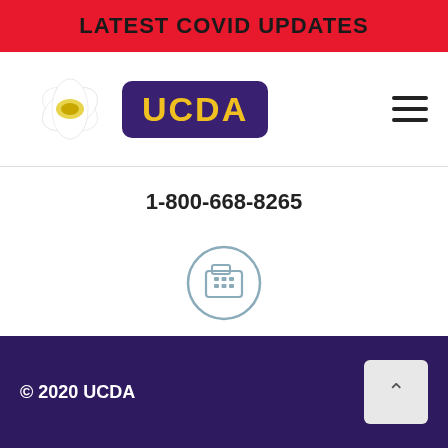LATEST COVID UPDATES
[Figure (logo): UCDA logo with flower and purple badge with yellow text]
1-800-668-8265
[Figure (illustration): Fax machine icon in a circle]
FAX
416-232-0775
© 2020 UCDA